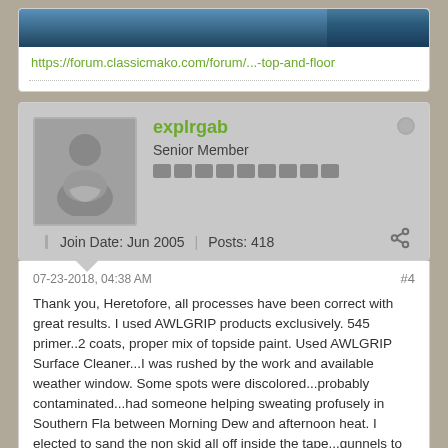[Figure (photo): Partial view of a boat or ocean photo, cropped at top]
https://forum.classicmako.com/forum/...-top-and-floor
explrgab
Senior Member
Join Date: Jun 2005   Posts: 418
07-23-2018, 04:38 AM
#4
Thank you, Heretofore, all processes have been correct with great results. I used AWLGRIP products exclusively. 545 primer..2 coats, proper mix of topside paint. Used AWLGRIP Surface Cleaner...I was rushed by the work and available weather window. Some spots were discolored...probably contaminated...had someone helping sweating profusely in Southern Fla between Morning Dew and afternoon heat. I elected to sand the non skid all off inside the tape...gunnels to bow, deck from step up at console forward. So that is where i am now....Forecast is for rain...so i will take a step back and regroup. Do i pull off all the tape to ensure time and weather has